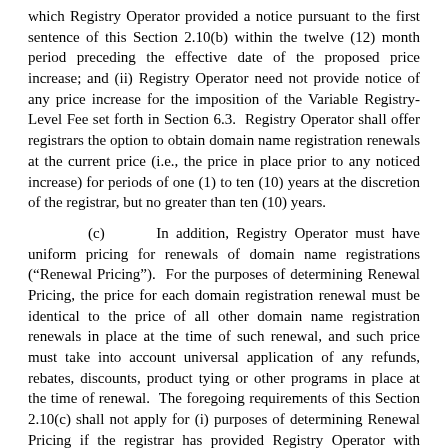which Registry Operator provided a notice pursuant to the first sentence of this Section 2.10(b) within the twelve (12) month period preceding the effective date of the proposed price increase; and (ii) Registry Operator need not provide notice of any price increase for the imposition of the Variable Registry-Level Fee set forth in Section 6.3.  Registry Operator shall offer registrars the option to obtain domain name registration renewals at the current price (i.e., the price in place prior to any noticed increase) for periods of one (1) to ten (10) years at the discretion of the registrar, but no greater than ten (10) years.
(c)      In addition, Registry Operator must have uniform pricing for renewals of domain name registrations (“Renewal Pricing”).  For the purposes of determining Renewal Pricing, the price for each domain registration renewal must be identical to the price of all other domain name registration renewals in place at the time of such renewal, and such price must take into account universal application of any refunds, rebates, discounts, product tying or other programs in place at the time of renewal.  The foregoing requirements of this Section 2.10(c) shall not apply for (i) purposes of determining Renewal Pricing if the registrar has provided Registry Operator with documentation that demonstrates that the applicable registrant expressly agreed in its registration agreement with registrar to higher Renewal Pricing at the time of the initial registration of the domain name following the subsection previously disclosed Renewal Pricing; and